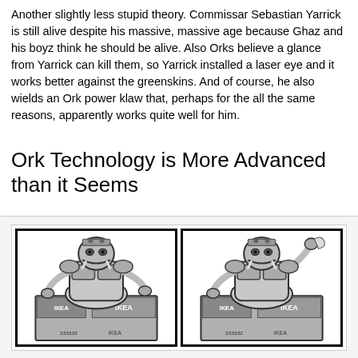Another slightly less stupid theory. Commissar Sebastian Yarrick is still alive despite his massive, massive age because Ghaz and his boyz think he should be alive. Also Orks believe a glance from Yarrick can kill them, so Yarrick installed a laser eye and it works better against the greenskins. And of course, he also wields an Ork power klaw that, perhaps for the all the same reasons, apparently works quite well for him.
Ork Technology is More Advanced than it Seems
[Figure (illustration): Two comic-style panels side by side, each showing an Ork (large alien creature) standing behind IKEA-branded boxes, drawn in black and white. Left panel shows the Ork looking forward; right panel shows the Ork with one arm raised.]